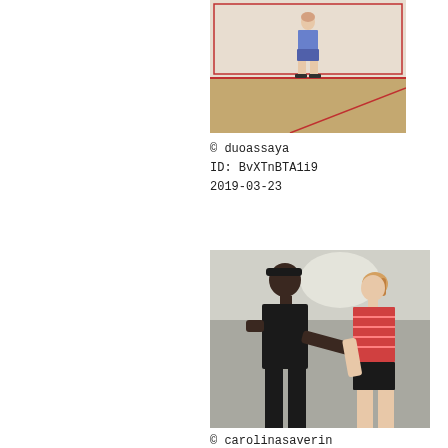[Figure (photo): A person standing on a squash court, wearing a blue top and shorts, viewed from a distance. The court has red lines and a wooden floor.]
© duoassaya
ID: BvXTnBTA1i9
2019-03-23
[Figure (photo): Two people in a gym or sports hall. A person in black (left) and a person in a red striped top with dark shorts (right), viewed from behind.]
© carolinasaverin